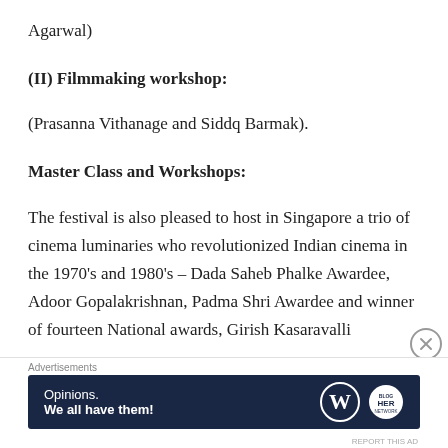Agarwal)
(II) Filmmaking workshop:
(Prasanna Vithanage and Siddq Barmak).
Master Class and Workshops:
The festival is also pleased to host in Singapore a trio of cinema luminaries who revolutionized Indian cinema in the 1970's and 1980's – Dada Saheb Phalke Awardee, Adoor Gopalakrishnan, Padma Shri Awardee and winner of fourteen National awards, Girish Kasaravalli
[Figure (other): Advertisement banner: 'Opinions. We all have them!' with WordPress and another logo on dark navy background]